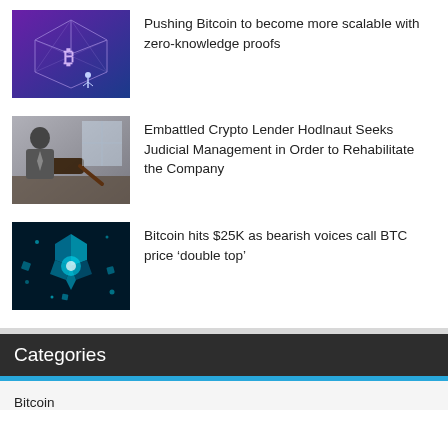[Figure (photo): Glowing blue Bitcoin cube with geometric lines, digital blockchain concept art]
Pushing Bitcoin to become more scalable with zero-knowledge proofs
[Figure (photo): Person in suit at a desk with a judge's gavel, legal/court setting]
Embattled Crypto Lender Hodlnaut Seeks Judicial Management in Order to Rehabilitate the Company
[Figure (photo): Digital teal/cyan colored exploding cube blockchain illustration]
Bitcoin hits $25K as bearish voices call BTC price ‘double top’
Categories
Bitcoin